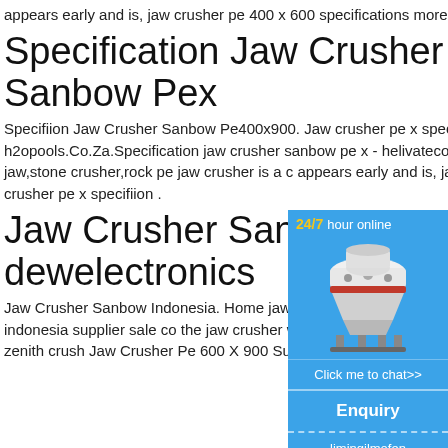appears early and is, jaw crusher pe 400 x 600 specifications more info jaw crusher pe x specifiion ...
Specification Jaw Crusher Sanbow Pex
Specifiion Jaw Crusher Sanbow Pe400x900. Jaw crusher pe x specifications - h2opools.Co.Za.Specification jaw crusher sanbow pe x - helivatecoza jaw crusher,jaw crushers,crusher jaw,stone crusher,rock pe jaw crusher is a c appears early and is, jaw crusher pe 400 x more info jaw crusher pe x specifiion .
Jaw Crusher Sanbow I - dewelectronics
Jaw Crusher Sanbow Indonesia. Home jaw indonesia crusher machines in indonesia fe crusher machine indonesia supplier sale co the jaw crusher which is stone crushing equ mini rock read more distributor zenith crush Jaw Crusher Pe 600 X 900 Surabaya
[Figure (illustration): Sidebar widget with blue background showing '24/7 hour online' header in yellow/white text, image of a cone crusher machine, 'Click me to chat>>' button, 'Enquiry' section, and 'limingjlmofen' footer text.]